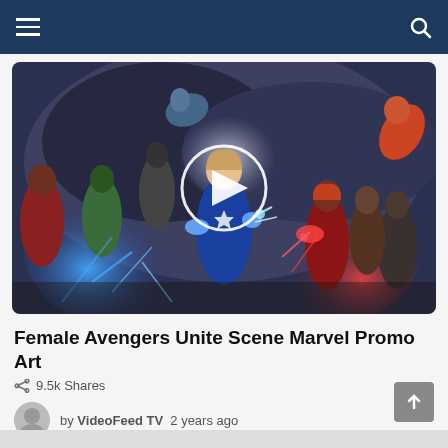Navigation bar with menu and search icons
[Figure (photo): Marvel promo art showing female Avengers in an action scene with Captain Marvel at center, surrounded by characters including Gamora, Scarlet Witch, Okoye, and others with energy effects. A circular play button overlay is centered on the image.]
Female Avengers Unite Scene Marvel Promo Art
9.5k Shares
by VideoFeed TV  2 years ago